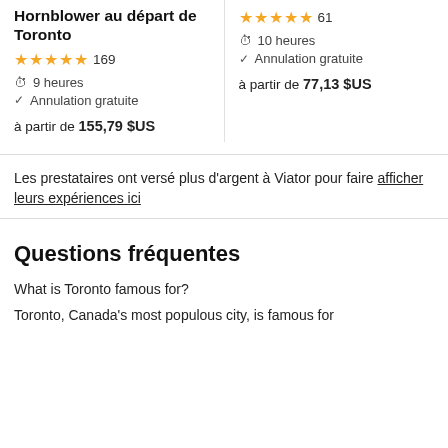Hornblower au départ de Toronto
★★★★½ 169
⏱ 9 heures
✓ Annulation gratuite
à partir de 155,79 $US
★★★★½ 61
⏱ 10 heures
✓ Annulation gratuite
à partir de 77,13 $US
Les prestataires ont versé plus d'argent à Viator pour faire afficher leurs expériences ici
Questions fréquentes
What is Toronto famous for?
Toronto, Canada's most populous city, is famous for